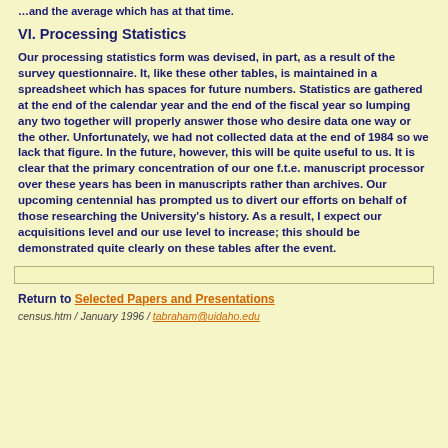…and the average which has at that time.
VI. Processing Statistics
Our processing statistics form was devised, in part, as a result of the survey questionnaire. It, like these other tables, is maintained in a spreadsheet which has spaces for future numbers. Statistics are gathered at the end of the calendar year and the end of the fiscal year so lumping any two together will properly answer those who desire data one way or the other. Unfortunately, we had not collected data at the end of 1984 so we lack that figure. In the future, however, this will be quite useful to us. It is clear that the primary concentration of our one f.t.e. manuscript processor over these years has been in manuscripts rather than archives. Our upcoming centennial has prompted us to divert our efforts on behalf of those researching the University's history. As a result, I expect our acquisitions level and our use level to increase; this should be demonstrated quite clearly on these tables after the event.
Return to Selected Papers and Presentations
census.htm / January 1996 / tabraham@uidaho.edu